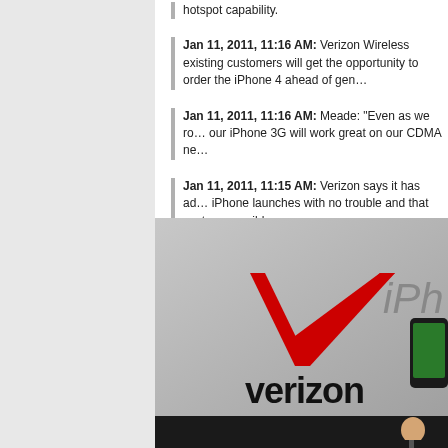hotspot capability.
Jan 11, 2011, 11:16 AM: Verizon Wireless existing customers will get the opportunity to order the iPhone 4 ahead of general availability.
Jan 11, 2011, 11:16 AM: Meade: "Even as we roll out LTE, our iPhone 3G will work great on our CDMA network."
Jan 11, 2011, 11:15 AM: Verizon says it has addressed past iPhone launches with no trouble and that customers will get the best experience possible.
[Figure (photo): Photo of a Verizon press event showing the Verizon logo with the red checkmark swoosh on a large display screen, and a partial view of an iPhone, with a man in a suit visible at the bottom right.]